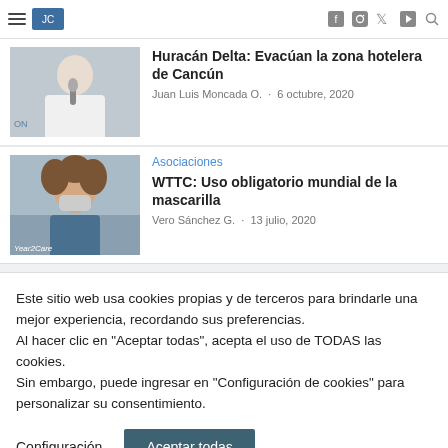Huracán Delta: Evacúan la zona hotelera de Cancún — Juan Luis Moncada O. · 6 octubre, 2020
[Figure (photo): Photo of a man in white shirt speaking at a microphone, gesturing with hands]
Asociaciones
WTTC: Uso obligatorio mundial de la mascarilla
Vero Sánchez G. · 13 julio, 2020
[Figure (photo): Photo of a woman with curly hair wearing a face mask, label Year2Care]
Este sitio web usa cookies propias y de terceros para brindarle una mejor experiencia, recordando sus preferencias.
Al hacer clic en "Aceptar todas", acepta el uso de TODAS las cookies.
Sin embargo, puede ingresar en "Configuración de cookies" para personalizar su consentimiento.
Configuración
Aceptar todas